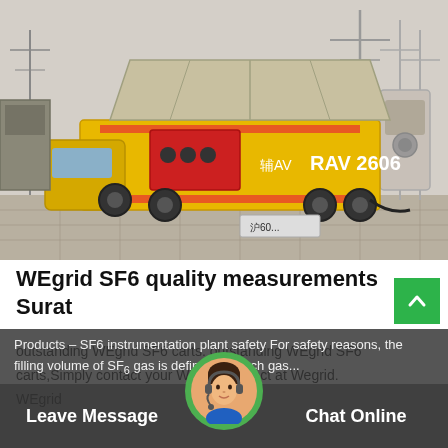[Figure (photo): A yellow truck with SF6 gas handling equipment parked at an electrical substation. The truck has markings 'RAV 2606' and carries red and yellow equipment. Electrical transmission infrastructure visible in background.]
WEgrid SF6 quality measurements Surat
outstanding WEgrid SF6 carts. outstanding WEgrid SF6 carts,Simply contact your WEgrid contact at Wegrid. WEgrid
Products – SF6 instrumentation plant safety For safety reasons, the filling volume of SF6 gas is defined for each gas...